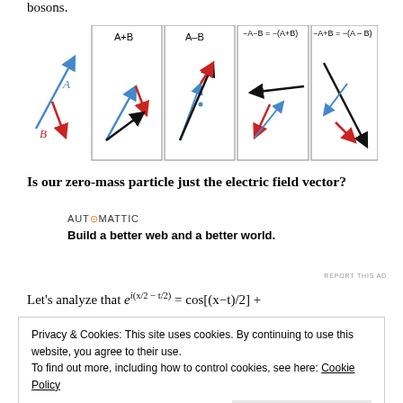bosons.
[Figure (illustration): Vector addition diagrams showing vectors A (blue) and B (red) on the left, and four panels labeled: A+B, A-B, -A-B=-(A+B), -A+B=-(A-B), each showing vector addition/subtraction operations with blue, red, and black arrows.]
Is our zero-mass particle just the electric field vector?
[Figure (logo): Automattic logo with tagline: Build a better web and a better world.]
REPORT THIS AD
Privacy & Cookies: This site uses cookies. By continuing to use this website, you agree to their use. To find out more, including how to control cookies, see here: Cookie Policy
Close and accept